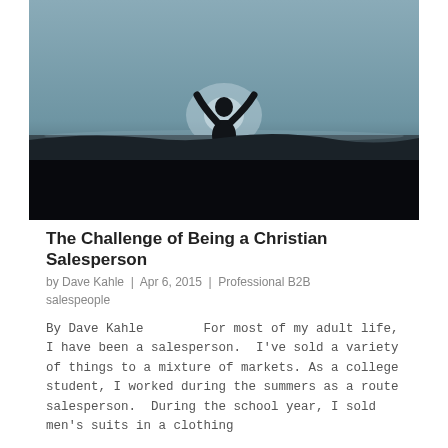[Figure (photo): A silhouette of a person with arms raised triumphantly against a blue-grey sky, standing at what appears to be a waterline or horizon. The lower half of the image is very dark, almost black.]
The Challenge of Being a Christian Salesperson
by Dave Kahle  |  Apr 6, 2015  |  Professional B2B salespeople
By Dave Kahle         For most of my adult life, I have been a salesperson.  I've sold a variety of things to a mixture of markets. As a college student, I worked during the summers as a route salesperson.  During the school year, I sold men's suits in a clothing